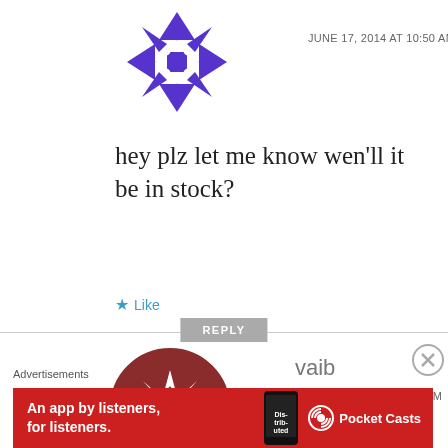[Figure (illustration): Purple geometric snowflake/star avatar icon]
JUNE 17, 2014 AT 10:50 AM
hey plz let me know wen'll it be in stock?
★ Like
REPLY
[Figure (illustration): Dark red circular avatar with white geometric star/cross pattern]
vaib
JUNE 17, 2014 AT 11:35 AM
When will it be in stock?
Advertisements
[Figure (illustration): Red Pocket Casts advertisement banner: An app by listeners, for listeners.]